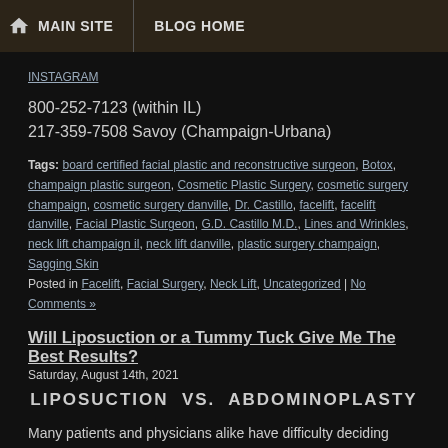MAIN SITE | BLOG HOME
INSTAGRAM
800-252-7123 (within IL)
217-359-7508 Savoy (Champaign-Urbana)
Tags: board certified facial plastic and reconstructive surgeon, Botox, champaign plastic surgeon, Cosmetic Plastic Surgery, cosmetic surgery champaign, cosmetic surgery danville, Dr. Castillo, facelift, facelift danville, Facial Plastic Surgeon, G.D. Castillo M.D., Lines and Wrinkles, neck lift champaign il, neck lift danville, plastic surgery champaign, Sagging Skin
Posted in Facelift, Facial Surgery, Neck Lift, Uncategorized | No Comments »
Will Liposuction or a Tummy Tuck Give Me The Best Results?
Saturday, August 14th, 2021
LIPOSUCTION  VS.  ABDOMINOPLASTY
Many patients and physicians alike have difficulty deciding whether liposuction or abdominoplasty is the best procedure when both fat and excess skin coexist. Generally speaking, liposuction is best when...